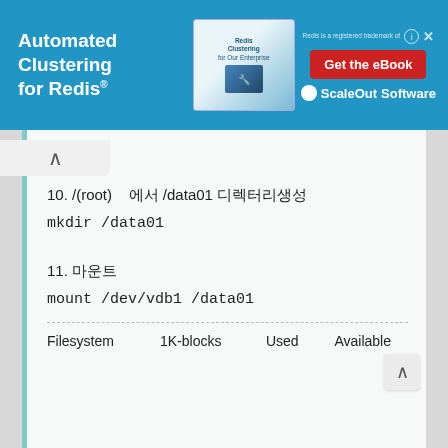[Figure (screenshot): Advertisement banner for 'Automated Clustering for Redis' by ScaleOut Software with a 'Get the eBook' button]
10. /(root)    에서 /data01 디렉터리생성
mkdir /data01
11. 마운트
mount /dev/vdb1 /data01
| Filesystem | 1K-blocks | Used | Available |
| --- | --- | --- | --- |